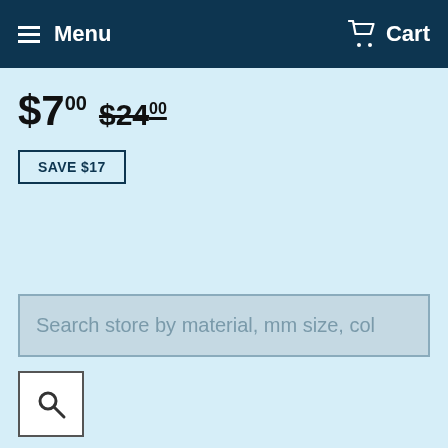Menu  Cart
$7.00  $24.00
SAVE $17
Search store by material, mm size, col
[Figure (other): Search icon button (magnifying glass)]
[Figure (other): White content box at the bottom]